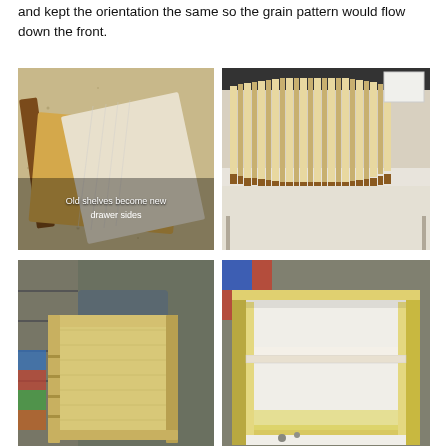and kept the orientation the same so the grain pattern would flow down the front.
[Figure (photo): Old wooden shelf pieces and plywood laid on a speckled surface. Caption overlay: 'Old shelves become new drawer sides']
[Figure (photo): Stack of many cut plywood/wood strips standing upright on a white workbench]
[Figure (photo): Wooden cabinet carcass with plywood sides in a garage workshop]
[Figure (photo): Interior of a cabinet showing open drawer box construction with white melamine bottom]